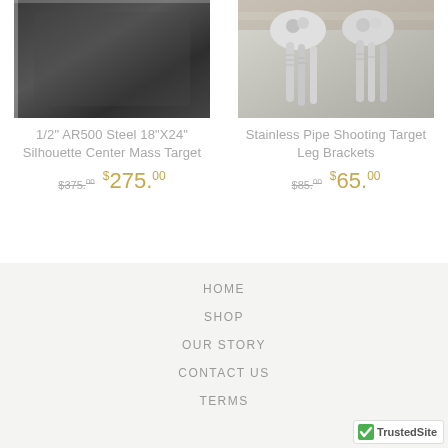[Figure (photo): Dark steel plate product photo - AR500 steel shooting target]
1/2" AR500 Steel 18"X24" Silhouette Center Mass Target
$375.00 $275.00
[Figure (photo): Stainless pipe shooting target leg brackets with bolts on wood background]
Stainless Pipe Shooting Target Leg Brackets
$85.00 $65.00
HOME
SHOP
OUR STORY
CONTACT US
TERMS